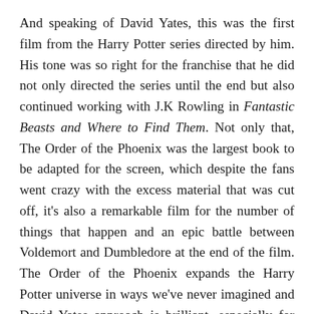And speaking of David Yates, this was the first film from the Harry Potter series directed by him. His tone was so right for the franchise that he did not only directed the series until the end but also continued working with J.K Rowling in Fantastic Beasts and Where to Find Them. Not only that, The Order of the Phoenix was the largest book to be adapted for the screen, which despite the fans went crazy with the excess material that was cut off, it's also a remarkable film for the number of things that happen and an epic battle between Voldemort and Dumbledore at the end of the film. The Order of the Phoenix expands the Harry Potter universe in ways we've never imagined and David Yates approach is brilliant, especially for setting an even darker tone from Alfonso Cuaron's work, that would keep getting darker until the end of the series.